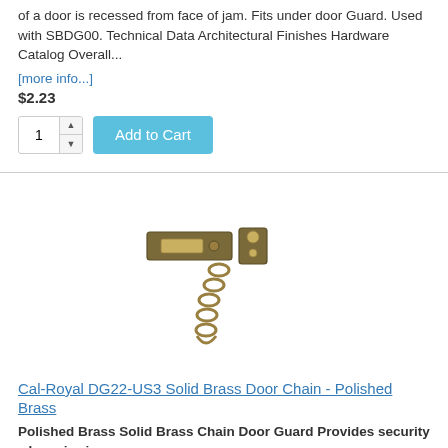of a door is recessed from face of jam. Fits under door Guard. Used with SBDG00. Technical Data Architectural Finishes Hardware Catalog Overall...
[more info...]
$2.23
[Figure (photo): Bronze/antique brass door chain guard with chain links hanging below the hardware pieces]
Cal-Royal DG22-US3 Solid Brass Door Chain - Polished Brass
Polished Brass Solid Brass Chain Door Guard Provides security when viewing